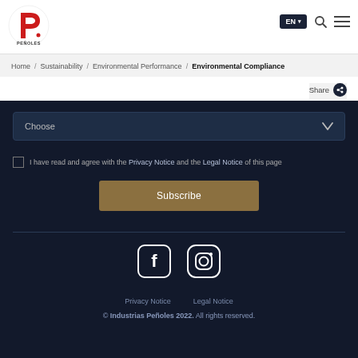[Figure (logo): Peñoles logo - red 'P' with dot, text PEÑOLES below]
EN ▾  🔍  ☰
Home / Sustainability / Environmental Performance / Environmental Compliance
Share
Choose
I have read and agree with the Privacy Notice and the Legal Notice of this page
Subscribe
[Figure (logo): Facebook icon (rounded square with F)]
[Figure (logo): Instagram icon (rounded square with camera)]
Privacy Notice   Legal Notice
© Industrias Peñoles 2022. All rights reserved.